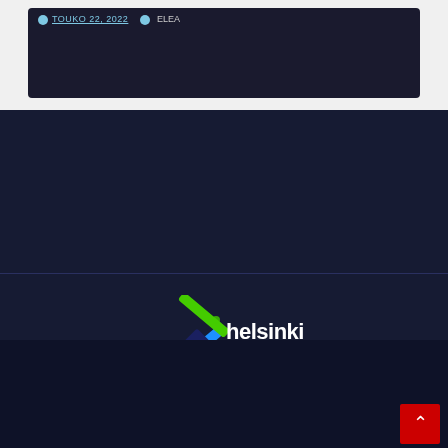[Figure (screenshot): Dark-tinted card with metadata showing date TOUKO 22, 2022 and author ELEA]
[Figure (logo): Helsinki in2017 logo with crossed swords/sticks icon in blue and green]
Proudly powered by WordPress | Theme: News Talk by Themeansar.
Home
GAMING
TECHNOLOGY
MUSIC
About Us